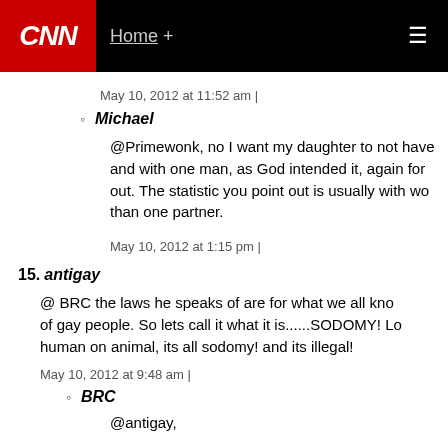[Figure (screenshot): CNN website header with red CNN logo on left, 'Home +' navigation link, and hamburger menu icon on right, all on black background]
May 10, 2012 at 11:52 am |
Michael
@Primewonk, no I want my daughter to not have and with one man, as God intended it, again for out. The statistic you point out is usually with wo than one partner.
May 10, 2012 at 1:15 pm |
15. antigay
@ BRC the laws he speaks of are for what we all kno of gay people. So lets call it what it is......SODOMY! Lo human on animal, its all sodomy! and its illegal!
May 10, 2012 at 9:48 am |
BRC
@antigay,